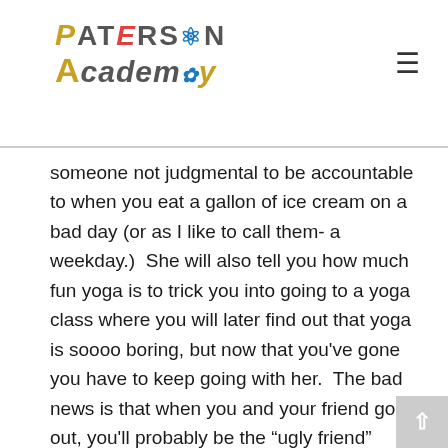Paterson Academy
someone not judgmental to be accountable to when you eat a gallon of ice cream on a bad day (or as I like to call them- a weekday.)  She will also tell you how much fun yoga is to trick you into going to a yoga class where you will later find out that yoga is soooo boring, but now that you've gone you have to keep going with her.  The bad news is that when you and your friend go out, you'll probably be the “ugly friend” because of course she is all trim and cute and looks good.  So of course, you'll secretly hate her for how perfect she is.
To balance your healthy friend, you also need a friend that will splurge on all of the forbidden fruits with you.  I